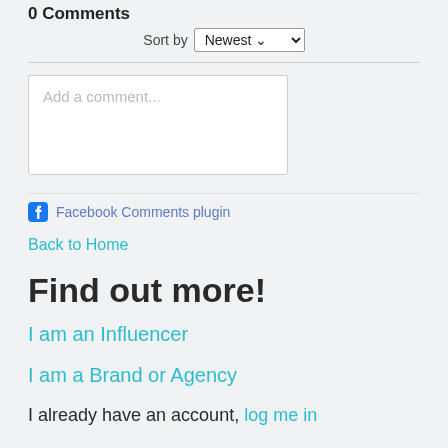0 Comments
Sort by Newest
[Figure (screenshot): Comment text input box with placeholder text 'Add a comment...']
Facebook Comments plugin
Back to Home
Find out more!
I am an Influencer
I am a Brand or Agency
I already have an account, log me in
Recent Posts